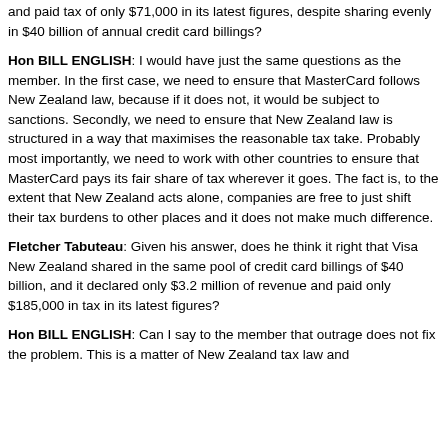and paid tax of only $71,000 in its latest figures, despite sharing evenly in $40 billion of annual credit card billings?
Hon BILL ENGLISH: I would have just the same questions as the member. In the first case, we need to ensure that MasterCard follows New Zealand law, because if it does not, it would be subject to sanctions. Secondly, we need to ensure that New Zealand law is structured in a way that maximises the reasonable tax take. Probably most importantly, we need to work with other countries to ensure that MasterCard pays its fair share of tax wherever it goes. The fact is, to the extent that New Zealand acts alone, companies are free to just shift their tax burdens to other places and it does not make much difference.
Fletcher Tabuteau: Given his answer, does he think it right that Visa New Zealand shared in the same pool of credit card billings of $40 billion, and it declared only $3.2 million of revenue and paid only $185,000 in tax in its latest figures?
Hon BILL ENGLISH: Can I say to the member that outrage does not fix the problem. This is a matter of New Zealand tax law and